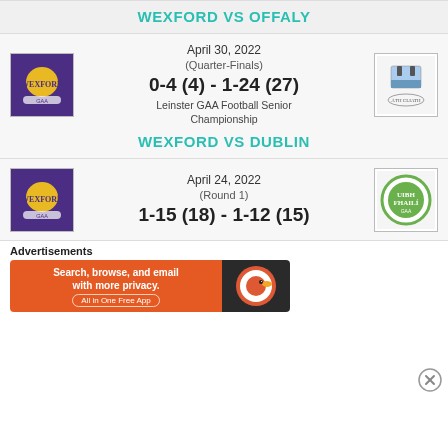WEXFORD VS OFFALY
April 30, 2022
(Quarter-Finals)
0-4 (4) - 1-24 (27)
Leinster GAA Football Senior Championship
WEXFORD VS DUBLIN
April 24, 2022
(Round 1)
1-15 (18) - 1-12 (15)
Advertisements
Search, browse, and email with more privacy. All in One Free App